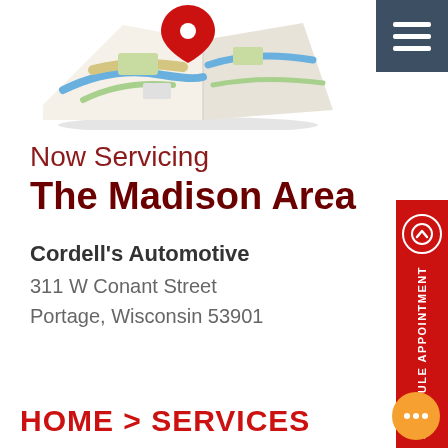[Figure (illustration): A folded map illustration with a red location pin/marker on top, styled like a GPS map with roads and green areas visible]
[Figure (other): Dark blue/slate hamburger menu button (three horizontal lines) in the top right corner]
Now Servicing
The Madison Area
Cordell's Automotive
311 W Conant Street
Portage, Wisconsin 53901
[Figure (other): Red vertical sidebar with upward chevron circle icon and rotated text 'SCHEDULE APPOINTMENT']
HOME > SERVICES
[Figure (other): Orange circular chat/message bubble button in bottom right corner with three dots]